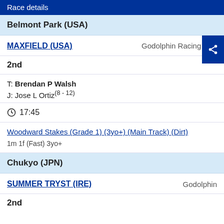Race details
Belmont Park (USA)
MAXFIELD (USA) — Godolphin Racing LLC
2nd
T: Brendan P Walsh
J: Jose L Ortiz (8 - 12)
17:45
Woodward Stakes (Grade 1) (3yo+) (Main Track) (Dirt)
1m 1f (Fast) 3yo+
Chukyo (JPN)
SUMMER TRYST (IRE) — Godolphin
2nd